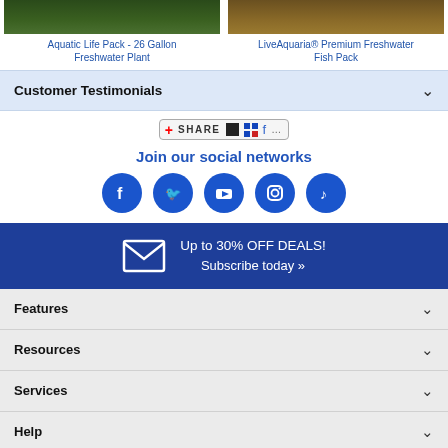[Figure (photo): Two product images side by side: Aquatic Life Pack - 26 Gallon Freshwater Plant (dark green) and LiveAquaria Premium Freshwater Fish Pack (brown/gold)]
Aquatic Life Pack - 26 Gallon Freshwater Plant
LiveAquaria® Premium Freshwater Fish Pack
Customer Testimonials
[Figure (screenshot): Share button widget with plus icon, SHARE text, and social sharing icons]
Join our social networks
[Figure (infographic): Five blue social media circle icons: Facebook, Twitter, YouTube, Instagram, TikTok]
Up to 30% OFF DEALS! Subscribe today »
Features
Resources
Services
Help
About Us